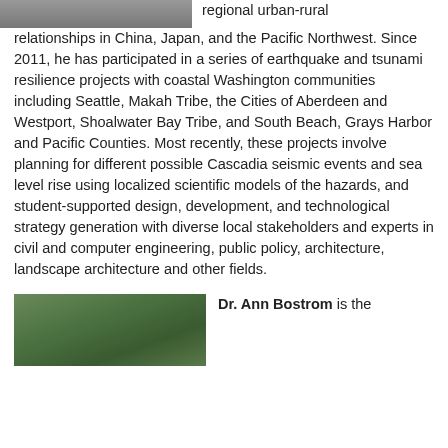[Figure (photo): Partial photo of a person, cropped at top of page, grayscale tones]
regional urban-rural relationships in China, Japan, and the Pacific Northwest. Since 2011, he has participated in a series of earthquake and tsunami resilience projects with coastal Washington communities including Seattle, Makah Tribe, the Cities of Aberdeen and Westport, Shoalwater Bay Tribe, and South Beach, Grays Harbor and Pacific Counties. Most recently, these projects involve planning for different possible Cascadia seismic events and sea level rise using localized scientific models of the hazards, and student-supported design, development, and technological strategy generation with diverse local stakeholders and experts in civil and computer engineering, public policy, architecture, landscape architecture and other fields.
[Figure (photo): Partial photo of Dr. Ann Bostrom, cropped at bottom of page, color photo with green background tones]
Dr. Ann Bostrom is the